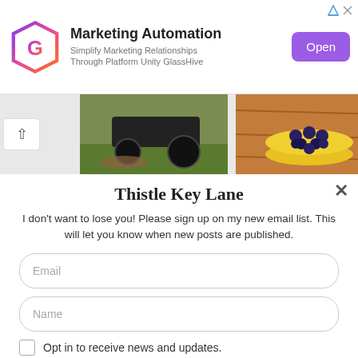[Figure (screenshot): Advertisement banner for GlassHive marketing automation platform with logo, tagline, and Open button]
[Figure (photo): Two thumbnail images: left shows a lawn mower on grass, right shows blueberries in a yellow bowl on wood surface]
Thistle Key Lane
I don't want to lose you! Please sign up on my new email list. This will let you know when new posts are published.
Email
Name
Opt in to receive news and updates.
SUBSCRIBE